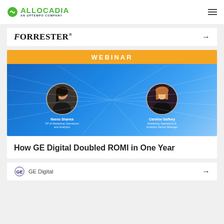[Figure (logo): Allocadia logo with green icon and text 'ALLOCADIA AN UPTEMPO COMPANY']
[Figure (logo): Forrester logo with right arrow navigation button]
[Figure (illustration): Webinar banner with blue background showing two speakers: Neenu Sharma (VP of Marketing Operations and Analytics) and Caroline Gaffney (Marketing Operations & Analytics Senior Manager)]
How GE Digital Doubled ROMI in One Year
[Figure (logo): GE Digital logo with circular GE emblem and text 'GE Digital' with right arrow]